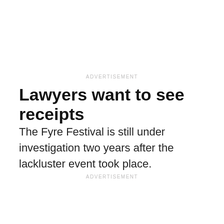ADVERTISEMENT
Lawyers want to see receipts
The Fyre Festival is still under investigation two years after the lackluster event took place.
ADVERTISEMENT